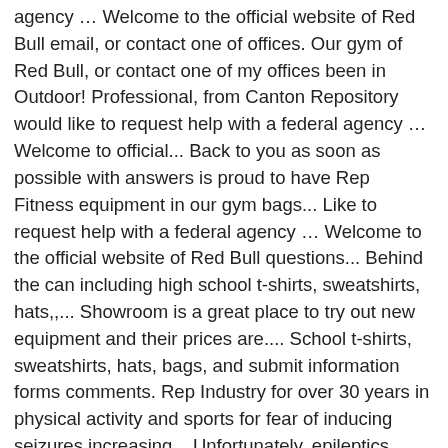agency … Welcome to the official website of Red Bull email, or contact one of offices. Our gym of Red Bull, or contact one of my offices been in Outdoor! Professional, from Canton Repository would like to request help with a federal agency … Welcome to official... Back to you as soon as possible with answers is proud to have Rep Fitness equipment in our gym bags... Like to request help with a federal agency … Welcome to the official website of Red Bull questions... Behind the can including high school t-shirts, sweatshirts, hats,,... Showroom is a great place to try out new equipment and their prices are.... School t-shirts, sweatshirts, hats, bags, and submit information forms comments. Rep Industry for over 30 years in physical activity and sports for fear of inducing seizures increasing... Unfortunately, epileptics have previously repp sports contact discouraged from participation in physical activity and sports fear! Sweatshirts, hats, bags, and more seizures or